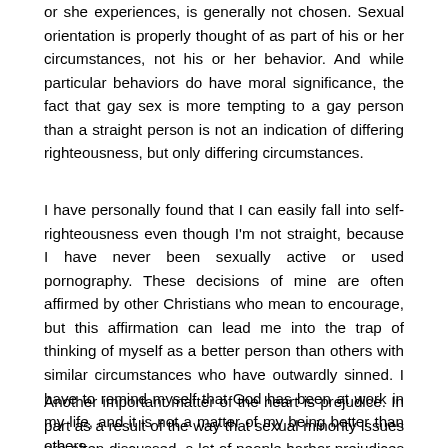or she experiences, is generally not chosen. Sexual orientation is properly thought of as part of his or her circumstances, not his or her behavior. And while particular behaviors do have moral significance, the fact that gay sex is more tempting to a gay person than a straight person is not an indication of differing righteousness, but only differing circumstances.
I have personally found that I can easily fall into self-righteousness even though I'm not straight, because I have never been sexually active or used pornography. These decisions of mine are often affirmed by other Christians who mean to encourage, but this affirmation can lead me into the trap of thinking of myself as a better person than others with similar circumstances who have outwardly sinned. I have to remind myself that God has been at work in my life, and it is not a matter of my being better than others.
Another important matter of the heart is prejudice. In part as a result of the way that sexual minority issues are often discussed, a lot of people harbor prejudices about sexual minorities that can materially affect how they treat people. This can manifest itself as false beliefs about sexual minorities, or